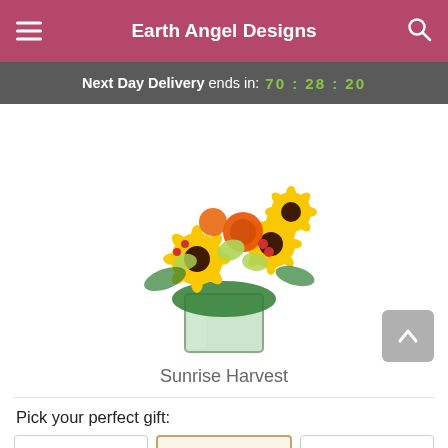Earth Angel Designs
Next Day Delivery ends in: 70 : 28 : 20
[Figure (photo): A floral arrangement called Sunrise Harvest featuring sunflowers, orange roses, green cymbidium orchids, and red berries in a square glass vase lined with green leaves.]
Sunrise Harvest
Pick your perfect gift: